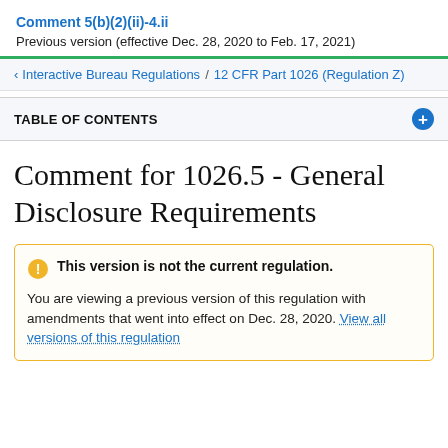Comment 5(b)(2)(ii)-4.ii
Previous version (effective Dec. 28, 2020 to Feb. 17, 2021)
Interactive Bureau Regulations / 12 CFR Part 1026 (Regulation Z)
TABLE OF CONTENTS
Comment for 1026.5 - General Disclosure Requirements
This version is not the current regulation. You are viewing a previous version of this regulation with amendments that went into effect on Dec. 28, 2020. View all versions of this regulation